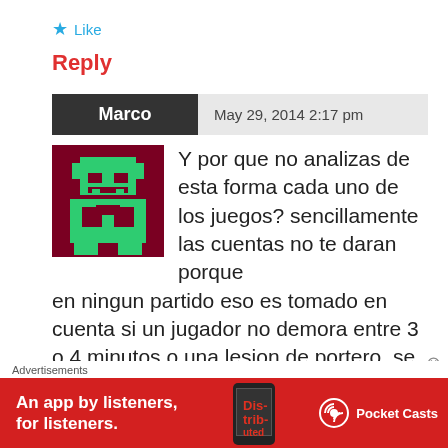★ Like
Reply
Marco  May 29, 2014 2:17 pm
[Figure (illustration): Pixel art avatar showing a green robot/character on dark red background]
Y por que no analizas de esta forma cada uno de los juegos? sencillamente las cuentas no te daran porque en ningun partido eso es tomado en cuenta si un jugador no demora entre 3 o 4 minutos o una lesion de portero, se dan 3 minutos si todos los cambios se realizan, 5
Advertisements
[Figure (screenshot): Advertisement banner: An app by listeners, for listeners. Pocket Casts app ad on red background with phone image.]